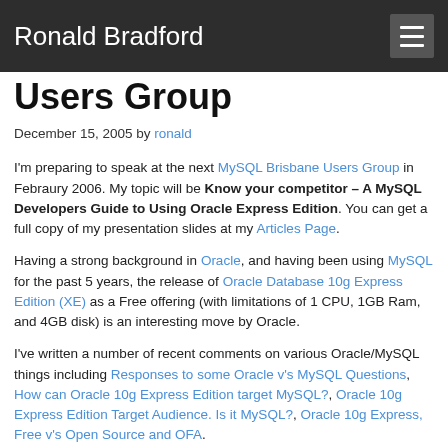Ronald Bradford
Users Group
December 15, 2005 by ronald
I'm preparing to speak at the next MySQL Brisbane Users Group in Febraury 2006. My topic will be Know your competitor – A MySQL Developers Guide to Using Oracle Express Edition. You can get a full copy of my presentation slides at my Articles Page.
Having a strong background in Oracle, and having been using MySQL for the past 5 years, the release of Oracle Database 10g Express Edition (XE) as a Free offering (with limitations of 1 CPU, 1GB Ram, and 4GB disk) is an interesting move by Oracle.
I've written a number of recent comments on various Oracle/MySQL things including Responses to some Oracle v's MySQL Questions, How can Oracle 10g Express Edition target MySQL?, Oracle 10g Express Edition Target Audience. Is it MySQL?, Oracle 10g Express, Free v's Open Source and OFA.
The question could be posed, what relevence does this have to